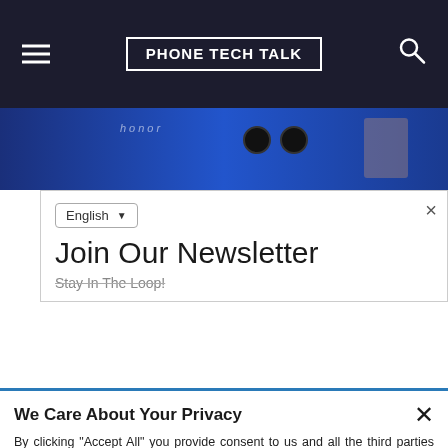PHONE TECH TALK
[Figure (photo): Blue Honor smartphone partial view shown in a dark blue banner strip]
Join Our Newsletter
Stay In The Loop!
We Care About Your Privacy
By clicking "Accept All" you provide consent to us and all the third parties mentioned in our Privacy and Cookies Preference Setting to store cookies and other technologies to enhance your website experience, process your personal data, show you personalized content and advertisements, analyze website efficiency, and improve our marketing efforts. Privacy
Privacy Settings
Do Not Sell My Data
Accept All